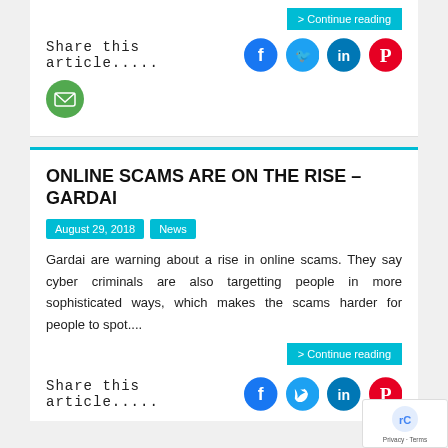Share this article.....
[Figure (infographic): Social sharing icons: Facebook (blue), Twitter (light blue), LinkedIn (dark blue), Pinterest (red), Email (green)]
> Continue reading
ONLINE SCAMS ARE ON THE RISE – GARDAI
August 29, 2018
News
Gardai are warning about a rise in online scams. They say cyber criminals are also targetting people in more sophisticated ways, which makes the scams harder for people to spot....
> Continue reading
Share this article.....
[Figure (infographic): Social sharing icons: Facebook (blue), Twitter (light blue), LinkedIn (dark blue), Pinterest (red)]
[Figure (logo): reCAPTCHA badge with Privacy and Terms text]